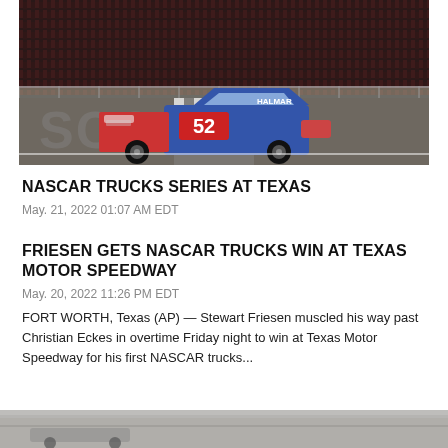[Figure (photo): NASCAR truck #52 with HALMAR branding crossing the finish line at night at Texas Motor Speedway, crowd visible in background]
NASCAR TRUCKS SERIES AT TEXAS
May. 21, 2022 01:07 AM EDT
FRIESEN GETS NASCAR TRUCKS WIN AT TEXAS MOTOR SPEEDWAY
May. 20, 2022 11:26 PM EDT
FORT WORTH, Texas (AP) — Stewart Friesen muscled his way past Christian Eckes in overtime Friday night to win at Texas Motor Speedway for his first NASCAR trucks...
[Figure (photo): Partial view of another NASCAR race scene at the bottom of the page]